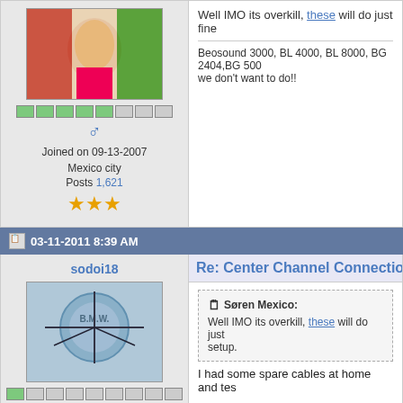[Figure (photo): Avatar image with colorful flag/dancer graphic]
Joined on 09-13-2007
Mexico city
Posts 1,621
★★★ (3 stars)
Well IMO its overkill, these will do just fine
Beosound 3000, BL 4000, BL 8000, BG 2404,BG 500... we don't want to do!!
03-11-2011 8:39 AM
sodoi18
[Figure (photo): Avatar image with BMW logo and airplane silhouette]
Joined on 02-06-2010
USA
Re: Center Channel Connection f
Søren Mexico: Well IMO its overkill, these will do just setup.
I had some spare cables at home and tes